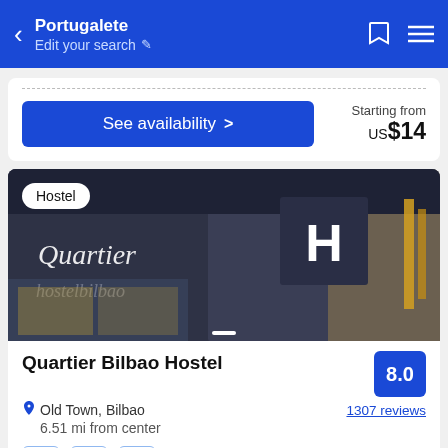Portugalete / Edit your search
See availability >
Starting from US$14
[Figure (photo): Exterior photo of Quartier Bilbao Hostel — dark grey/charcoal building facade with 'Quartier hostelbilbao' text and a large H sign. Badge reading 'Hostel' overlaid top-left.]
Quartier Bilbao Hostel
8.0
Old Town, Bilbao
6.51 mi from center
1307 reviews
Located in the heart of Bilbao Historic Centre, 100 metres from